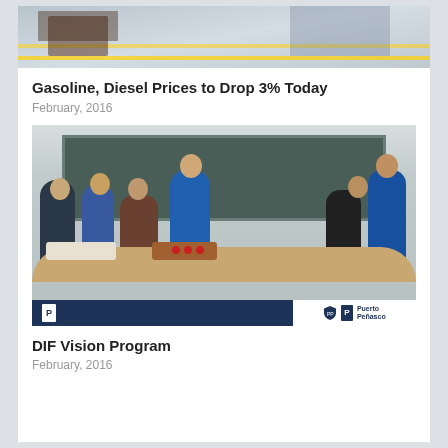[Figure (photo): Top partial image showing what appears to be a workshop or garage floor with yellow lines]
Gasoline, Diesel Prices to Drop 3% Today
February, 2016
[Figure (photo): Group of people sitting around a table in a classroom setting with a chalkboard behind them. A woman in a blue vest is assisting. Puerto Peñasco DIF Vision Program event.]
DIF Vision Program
February, 2016